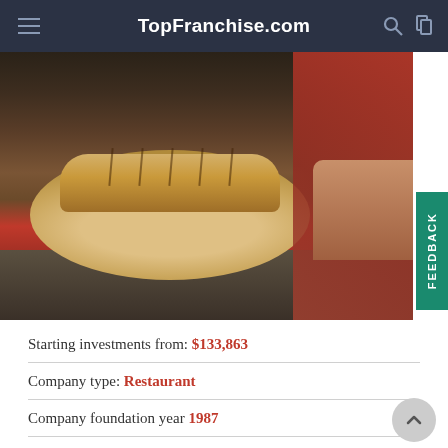TopFranchise.com
[Figure (photo): A person in a red apron holding a round wooden cutting board with a sliced sub sandwich loaf on top, in a restaurant kitchen setting.]
Starting investments from: $133,863
Company type: Restaurant
Company foundation year 1987
Year of launching the franchise 1996